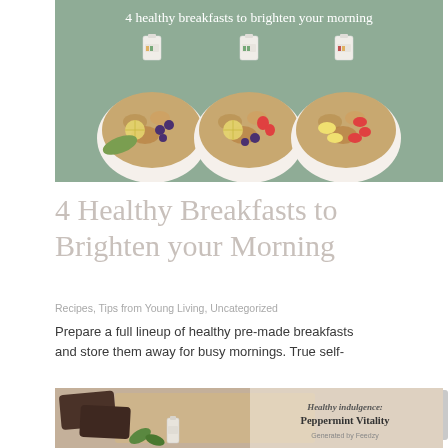[Figure (photo): Hero photo showing three bowls of healthy cereals/grains with fruits on a sage green background, with small product bottles above each bowl. Text overlay reads '4 healthy breakfasts to brighten your morning'.]
4 Healthy Breakfasts to Brighten your Morning
Recipes, Tips from Young Living, Uncategorized
Prepare a full lineup of healthy pre-made breakfasts and store them away for busy mornings. True self-
[Figure (photo): Partial bottom image showing dark brownies on wooden board with mint leaves and a small essential oil bottle. Text overlay reads 'Healthy indulgence: Peppermint Vitality' with 'Generated by Feedzy' watermark.]